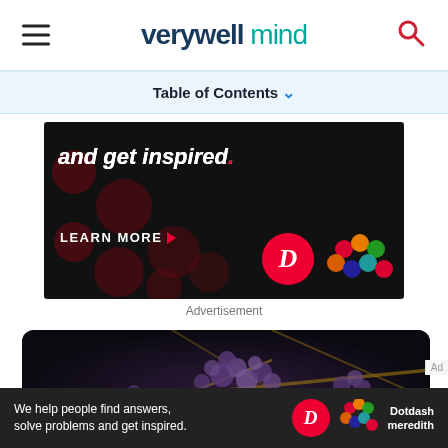verywell mind
Table of Contents
[Figure (screenshot): Advertisement banner with black background showing text 'and get inspired.' with 'LEARN MORE' button and Dotdash Meredith logos]
Advertisement
[Figure (photo): Close-up macro photograph of purple berries on branches against dark background]
[Figure (screenshot): Bottom advertisement bar: 'We help people find answers, solve problems and get inspired.' with Dotdash Meredith logos]